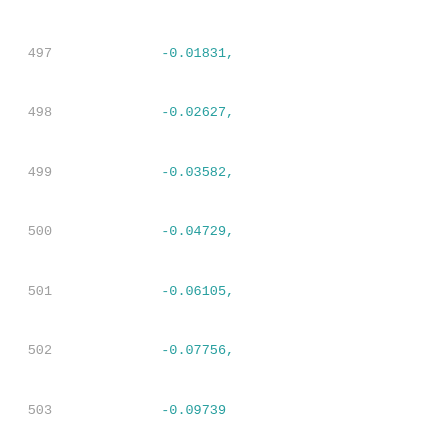497    -0.01831,
498    -0.02627,
499    -0.03582,
500    -0.04729,
501    -0.06105,
502    -0.07756,
503    -0.09739
504    ],
505    [
506    0.02101,
507    0.01201,
508    0.01017,
509    0.00798,
510    0.00535,
511    0.00217,
512    -0.00164,
513    -0.00624,
514    -0.01173,
515    -0.01836,
516    -0.02631,
517    -0.03586,
518    -0.04738,